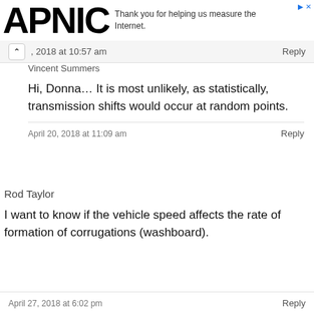APNIC — Thank you for helping us measure the Internet.
, 2018 at 10:57 am   Reply
Vincent Summers
Hi, Donna… It is most unlikely, as statistically, transmission shifts would occur at random points.
April 20, 2018 at 11:09 am   Reply
Rod Taylor
I want to know if the vehicle speed affects the rate of formation of corrugations (washboard).
April 27, 2018 at 6:02 pm   Reply